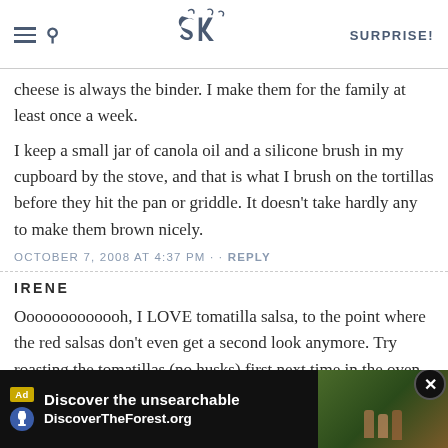SK SURPRISE!
cheese is always the binder. I make them for the family at least once a week.
I keep a small jar of canola oil and a silicone brush in my cupboard by the stove, and that is what I brush on the tortillas before they hit the pan or griddle. It doesn't take hardly any to make them brown nicely.
OCTOBER 7, 2008 AT 4:37 PM · · REPLY
IRENE
Ooooooooooooh, I LOVE tomatilla salsa, to the point where the red salsas don't even get a second look anymore. Try roasting the tomatillas (no husks) first next time in the oven on a large flat baking sheet, turning them as they char. Adds a different flavor depth to the salsa.
OCTOBE...
[Figure (screenshot): Advertisement banner: 'Discover the unsearchable' for DiscoverTheForest.org with a forest photo and close button]